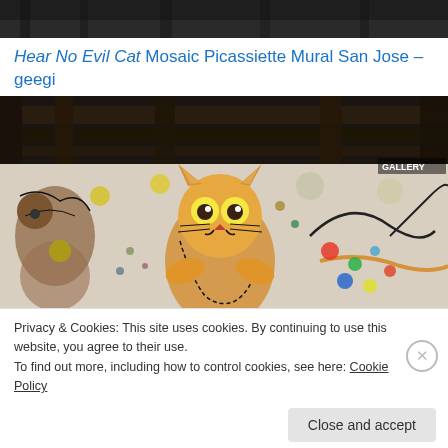[Figure (photo): Dark strip showing the top of a mural scene, partially cropped]
Hear No Evil Cat Mosaic Picassiette Mural San Jose – geegi
[Figure (photo): Colorful mosaic tile mural showing stylized cats with large eyes under a bridge or overpass structure. A cat with orange and yellow hues is prominently displayed in the center. Various colorful circular mosaic pieces are scattered around.]
Privacy & Cookies: This site uses cookies. By continuing to use this website, you agree to their use.
To find out more, including how to control cookies, see here: Cookie Policy
Close and accept